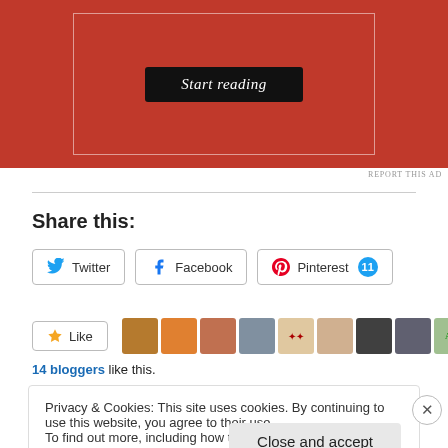[Figure (screenshot): Advertisement banner with red background showing a 'Start reading' button inside a white-bordered box]
REPORT THIS AD
Share this:
[Figure (screenshot): Social sharing buttons: Twitter, Facebook, Pinterest (11)]
[Figure (screenshot): Like button with star icon and 10 blogger avatars]
14 bloggers like this.
Privacy & Cookies: This site uses cookies. By continuing to use this website, you agree to their use.
To find out more, including how to control cookies, see here: Cookie Policy